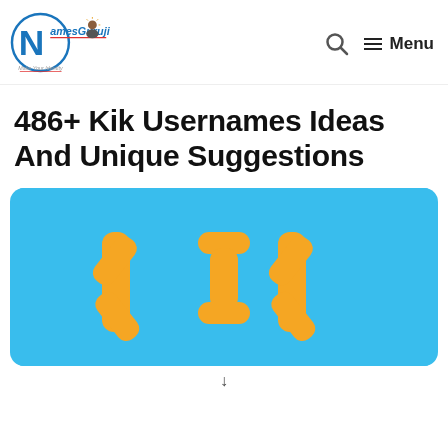NamesGuruji — Make Your Identity | Search | Menu
486+ Kik Usernames Ideas And Unique Suggestions
[Figure (illustration): Light blue banner image with the word 'KIK' written in large orange bubbly/blocky letters on a sky-blue background, representing the Kik messaging app logo styling.]